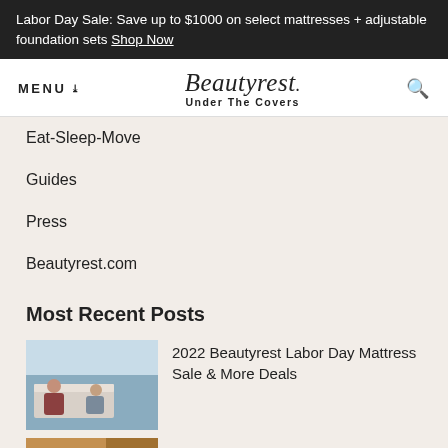Labor Day Sale: Save up to $1000 on select mattresses + adjustable foundation sets Shop Now
MENU
[Figure (logo): Beautyrest Under The Covers logo]
Eat-Sleep-Move
Guides
Press
Beautyrest.com
Most Recent Posts
[Figure (photo): Two people making a bed with a Beautyrest mattress]
2022 Beautyrest Labor Day Mattress Sale & More Deals
[Figure (photo): Partial thumbnail - orange/brown toned image]